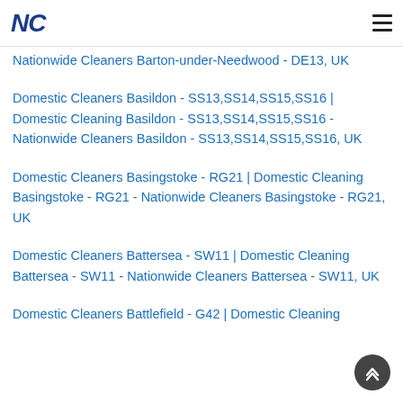NC [logo] [hamburger menu]
Nationwide Cleaners Barton-under-Needwood - DE13, UK
Domestic Cleaners Basildon - SS13,SS14,SS15,SS16 | Domestic Cleaning Basildon - SS13,SS14,SS15,SS16 - Nationwide Cleaners Basildon - SS13,SS14,SS15,SS16, UK
Domestic Cleaners Basingstoke - RG21 | Domestic Cleaning Basingstoke - RG21 - Nationwide Cleaners Basingstoke - RG21, UK
Domestic Cleaners Battersea - SW11 | Domestic Cleaning Battersea - SW11 - Nationwide Cleaners Battersea - SW11, UK
Domestic Cleaners Battlefield - G42 | Domestic Cleaning